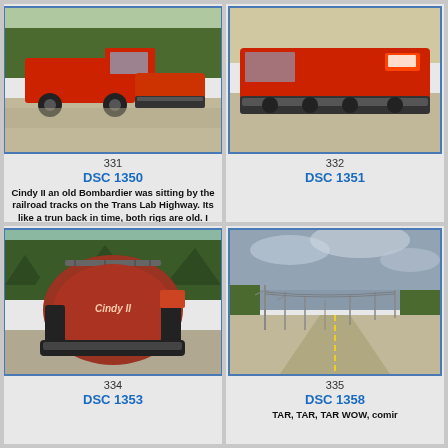[Figure (photo): Red truck and tracked vehicle (Bombardier) on gravel road with trees in background]
331
DSC 1350
Cindy II an old Bombardier was sitting by the railroad tracks on the Trans Lab Highway.   Its like a trun back in time, both rigs are old.  I would love to have brought her home with me.   When I got to Labrador City, I found the owner uses it all the time in the winter.
[Figure (photo): Red tracked vehicle (Bombardier) close-up side view on gravel]
332
DSC 1351
[Figure (photo): Cindy II - red Bombardier snowcat vehicle, rear view on gravel road with trees]
334
DSC 1353
[Figure (photo): Long straight road with utility poles and trees under cloudy sky]
335
DSC 1358
TAR, TAR, TAR  WOW, comir